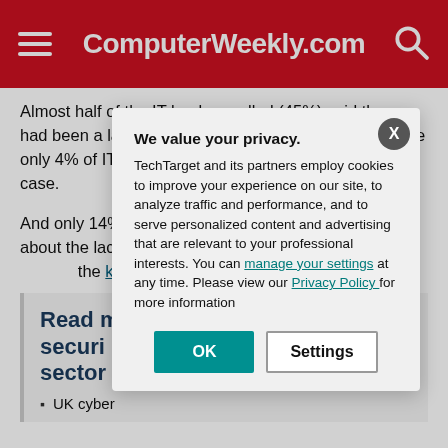ComputerWeekly.com
Almost half of the IT leaders polled (45%) said there had been a large increase in IT security incidents, while only 4% of IT practitioners believed that had been the case.
And only 14% of the practitioners were concerned about the lack of [text hidden by modal]. 36% of leaders s[text hidden] the known scarc[text hidden] public sector.
Read [more about] securi[ty in the public] sector[:]
UK cyber[...]
We value your privacy. TechTarget and its partners employ cookies to improve your experience on our site, to analyze traffic and performance, and to serve personalized content and advertising that are relevant to your professional interests. You can manage your settings at any time. Please view our Privacy Policy for more information